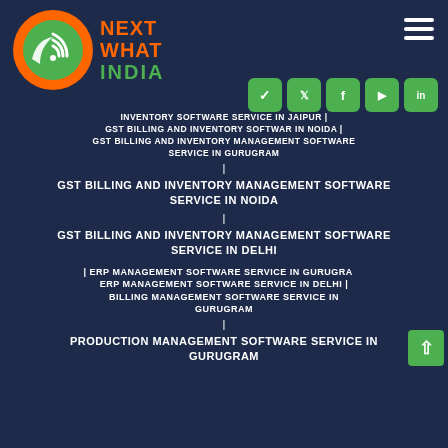[Figure (logo): NextWhat India logo with orange circle and green WiFi/leaf icon, orange text NEXT WHAT and green text INDIA]
[Figure (infographic): Social media icons row: WhatsApp, Twitter, Facebook, YouTube, LinkedIn in green rounded squares]
[Figure (infographic): Hamburger menu icon (three white horizontal lines) in top right]
INVENTORY SOFTWARE SERVICE IN JAIPUR | GST BILLING AND INVENTORY SOFTWAR IN NOIDA | GST BILLING AND INVENTORY MANAGEMENT SOFTWARE SERVICE IN GURUGRAM
GST BILLING AND INVENTORY MANAGEMENT SOFTWARE SERVICE IN NOIDA
GST BILLING AND INVENTORY MANAGEMENT SOFTWARE SERVICE IN DELHI
| ERP MANAGEMENT SOFTWARE SERVICE IN GURUGRAM ERP MANAGEMENT SOFTWARE SERVICE IN DELHI | BILLING MANAGEMENT SOFTWARE SERVICE IN GURUGRAM
PRODUCTION MANAGEMENT SOFTWARE SERVICE IN GURUGRAM